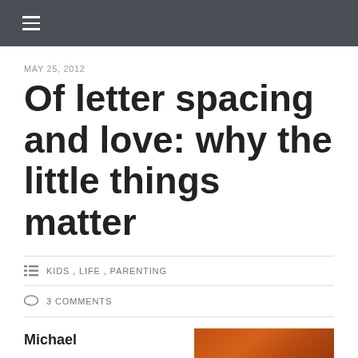☰ (navigation menu icon)
MAY 25, 2012
Of letter spacing and love: why the little things matter
≡ KIDS, LIFE, PARENTING
○ 3 COMMENTS
Michael